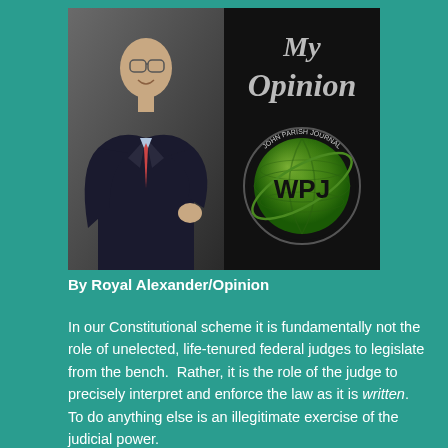[Figure (photo): Composite image: left side shows a professional photo of a man in a dark suit with a red tie, smiling, against a grey background. Right side shows a dark background with italic grey text reading 'My Opinion' and a green globe logo with 'WPJ' and circular text reading 'JOHN PARISH JOURNAL'.]
By Royal Alexander/Opinion
In our Constitutional scheme it is fundamentally not the role of unelected, life-tenured federal judges to legislate from the bench.  Rather, it is the role of the judge to precisely interpret and enforce the law as it is written.  To do anything else is an illegitimate exercise of the judicial power.